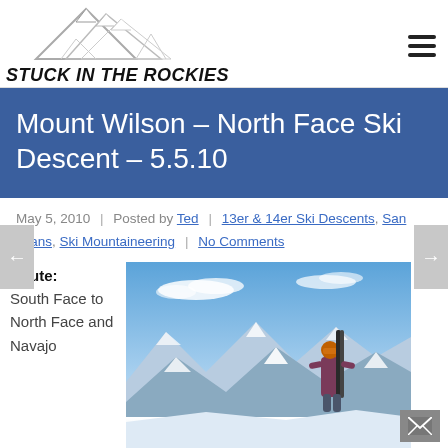[Figure (logo): Stuck in the Rockies website logo with mountain illustration and bold italic text]
Mount Wilson – North Face Ski Descent – 5.5.10
May 5, 2010 | Posted by Ted | 13er & 14er Ski Descents, San Juans, Ski Mountaineering | No Comments
Route: South Face to North Face and Navajo
[Figure (photo): Person with skis on back standing on snowy mountain summit with panoramic view of snow-capped peaks and blue sky]